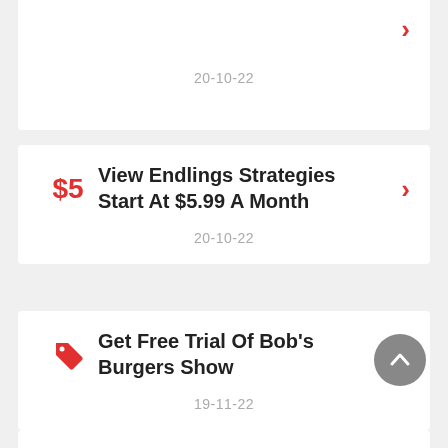Start At $5.99 A Month
20-10-22
View Endlings Strategies Start At $5.99 A Month
20-10-22
Get Free Trial Of Bob's Burgers Show
19-11-22